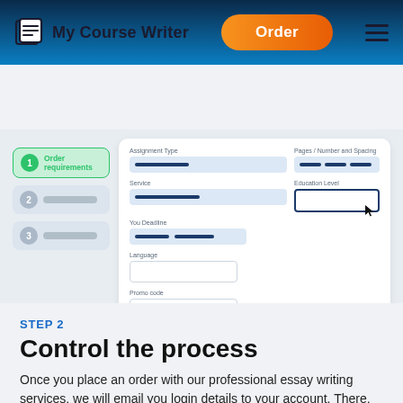My Course Writer | Order
[Figure (screenshot): Screenshot of a course writing order form with steps sidebar showing 'Order requirements' as step 1 active, and form fields for Assignment Type, Pages/Number and Spacing, Service, Education Level, You Deadline, Language, Promo code, with Estimated price $10.99 and Next step button.]
STEP 2
Control the process
Once you place an order with our professional essay writing services, we will email you login details to your account. There, you'll communicate with the